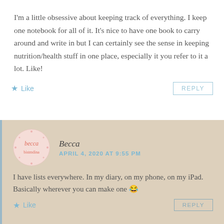I'm a little obsessive about keeping track of everything. I keep one notebook for all of it. It's nice to have one book to carry around and write in but I can certainly see the sense in keeping nutrition/health stuff in one place, especially it you refer to it a lot. Like!
★ Like    REPLY
Becca
APRIL 4, 2020 AT 9:55 PM
I have lists everywhere. In my diary, on my phone, on my iPad. Basically wherever you can make one 😂
★ Like    REPLY